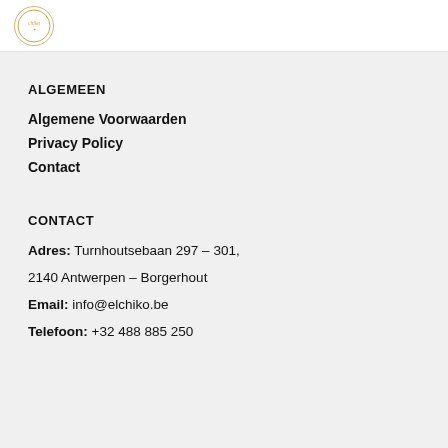[Figure (logo): Chiko circular logo with golden border and stylized brand name in italic]
ALGEMEEN
Algemene Voorwaarden
Privacy Policy
Contact
CONTACT
Adres: Turnhoutsebaan 297 – 301,
2140 Antwerpen – Borgerhout
Email: info@elchiko.be
Telefoon: +32 488 885 250